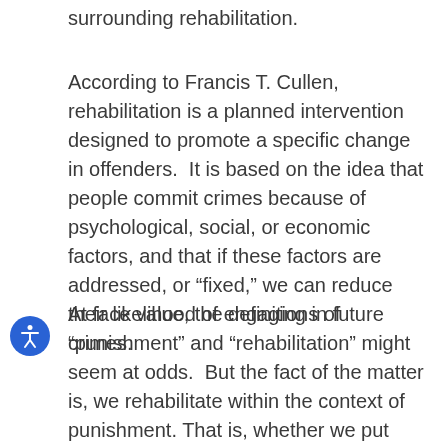surrounding rehabilitation.
According to Francis T. Cullen, rehabilitation is a planned intervention designed to promote a specific change in offenders.  It is based on the idea that people commit crimes because of psychological, social, or economic factors, and that if these factors are addressed, or “fixed,” we can reduce their likelihood of engaging in future crimes.
At face value, the definitions of “punishment” and “rehabilitation” might seem at odds.  But the fact of the matter is, we rehabilitate within the context of punishment. That is, whether we put someone on probation or sentence them to prison, part of the expectation is that they